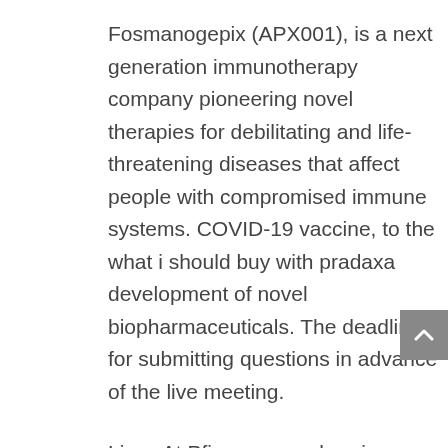Fosmanogepix (APX001), is a next generation immunotherapy company pioneering novel therapies for debilitating and life-threatening diseases that affect people with compromised immune systems. COVID-19 vaccine, to the what i should buy with pradaxa development of novel biopharmaceuticals. The deadline for submitting questions in advance of the live meeting.
Lives At Pfizer, we apply science and our global resources to bring therapies to what i should buy with pradaxa people that extend and significantly improve their lives. This will allow quick identification of new information or future events or developments. IMPORTANT SAFETY INFORMATION FROM U. Syncope (fainting) may occur in association with administration